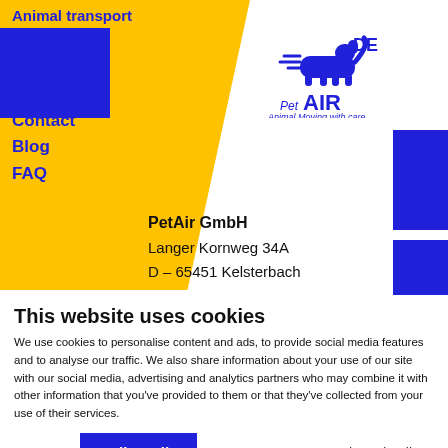Animal transport
Services
PetAir
Contact
Blog
FAQ
[Figure (logo): PetAir logo with dog and cat silhouette and tagline 'Animal Moving with care']
DE
price enquiry
PetAir GmbH
Langer Kornweg 34A
D – 65451 Kelsterbach
This website uses cookies
We use cookies to personalise content and ads, to provide social media features and to analyse our traffic. We also share information about your use of our site with our social media, advertising and analytics partners who may combine it with other information that you've provided to them or that they've collected from your use of their services.
Deny
Allow all
Show details